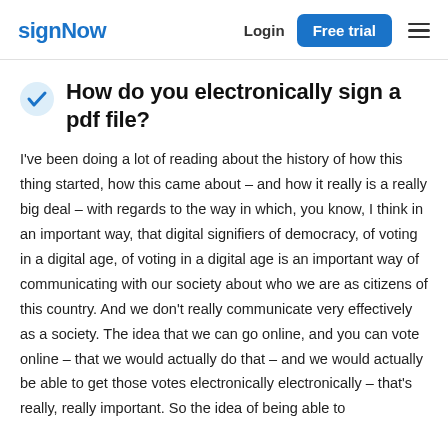signNow  Login  Free trial
How do you electronically sign a pdf file?
I've been doing a lot of reading about the history of how this thing started, how this came about – and how it really is a really big deal – with regards to the way in which, you know, I think in an important way, that digital signifiers of democracy, of voting in a digital age, of voting in a digital age is an important way of communicating with our society about who we are as citizens of this country. And we don't really communicate very effectively as a society. The idea that we can go online, and you can vote online – that we would actually do that – and we would actually be able to get those votes electronically electronically – that's really, really important. So the idea of being able to